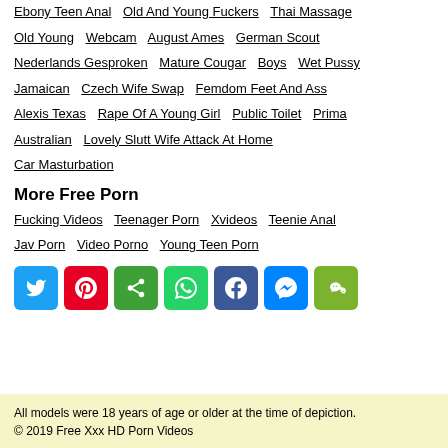Ebony Teen Anal | Old And Young Fuckers | Thai Massage
Old Young | Webcam | August Ames | German Scout
Nederlands Gesproken | Mature Cougar | Boys | Wet Pussy
Jamaican | Czech Wife Swap | Femdom Feet And Ass
Alexis Texas | Rape Of A Young Girl | Public Toilet | Prima
Australian | Lovely Slutt Wife Attack At Home
Car Masturbation
More Free Porn
Fucking Videos | Teenager Porn | Xvideos | Teenie Anal
Jav Porn | Video Porno | Young Teen Porn
[Figure (other): Social sharing buttons: Twitter (blue), Pinterest (red), ShareThis (green), WhatsApp (green), Facebook (dark blue), Messenger (blue), WeChat (green)]
All models were 18 years of age or older at the time of depiction.
© 2019 Free Xxx HD Porn Videos